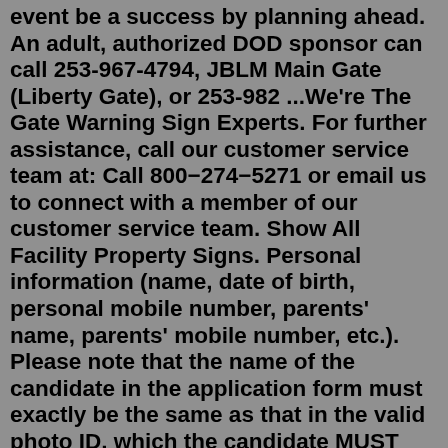event be a success by planning ahead. An adult, authorized DOD sponsor can call 253-967-4794, JBLM Main Gate (Liberty Gate), or 253-982 ...We're The Gate Warning Sign Experts. For further assistance, call our customer service team at: Call 800−274−5271 or email us to connect with a member of our customer service team. Show All Facility Property Signs. Personal information (name, date of birth, personal mobile number, parents' name, parents' mobile number, etc.). Please note that the name of the candidate in the application form must exactly be the same as that in the valid photo ID, which the candidate MUST produce in original while appearing for GATE-2022 examination at the centre. Sorry Newegg, but as long as UPS is your preferred shipping company you have lost my business. FedEx charges outrageous amounts for shipping and any price break I get from buying online is negated by these shipping charges. I'll just buy my stuff locally and you, and UPS, can go fuck...The "Sonar way"